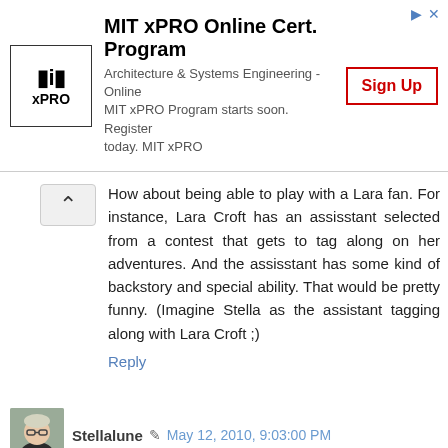[Figure (other): MIT xPRO Online Cert. Program advertisement banner with logo, description text, and Sign Up button]
How about being able to play with a Lara fan. For instance, Lara Croft has an assisstant selected from a contest that gets to tag along on her adventures. And the assisstant has some kind of backstory and special ability. That would be pretty funny. (Imagine Stella as the assistant tagging along with Lara Croft ;)
Reply
Stellalune  May 12, 2010, 9:03:00 PM
Katie, that's just great. Not that I'd want it to be me. I'd be even less helpful than that old fart-box Winston. ;)
Or how about a customizable sidekick that players could model on themselves or anybody else à la The Sims? Could be fun.